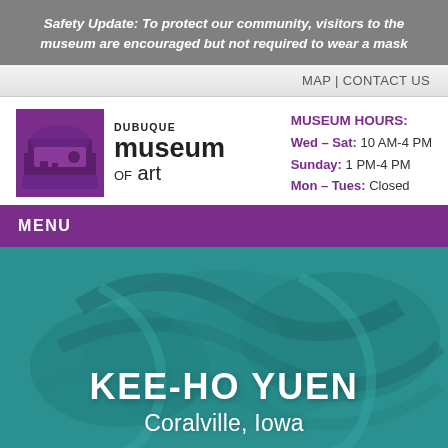Safety Update: To protect our community, visitors to the museum are encouraged but not required to wear a mask
MAP | CONTACT US
[Figure (logo): Dubuque Museum of Art logo with building illustration in purple square]
MUSEUM HOURS: Wed – Sat: 10 AM-4 PM Sunday: 1 PM-4 PM Mon – Tues: Closed
MENU
[Figure (photo): Teal/turquoise background with abstract ceramic vessel shapes, overlaid with text KEE-HO YUEN and Coralville, Iowa]